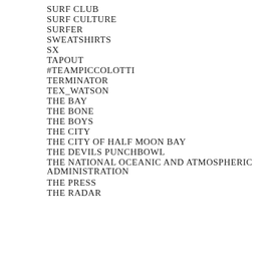SURF CLUB
SURF CULTURE
SURFER
SWEATSHIRTS
SX
TAPOUT
#TEAMPICCOLOTTI
TERMINATOR
TEX_WATSON
THE BAY
THE BONE
THE BOYS
THE CITY
THE CITY OF HALF MOON BAY
THE DEVILS PUNCHBOWL
THE NATIONAL OCEANIC AND ATMOSPHERIC ADMINISTRATION
THE PRESS
THE RADAR